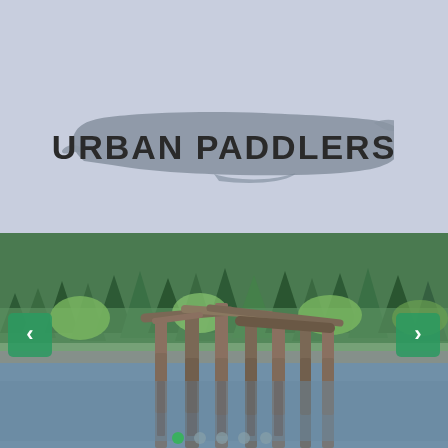URBAN PADDLERS
MENU
[Figure (photo): Photograph of an old wooden dock structure with collapsed beams, surrounded by a calm lake with reflections, with a dense green forest of conifer trees in the background. Navigation arrows on left and right edges with dot indicators at the bottom.]